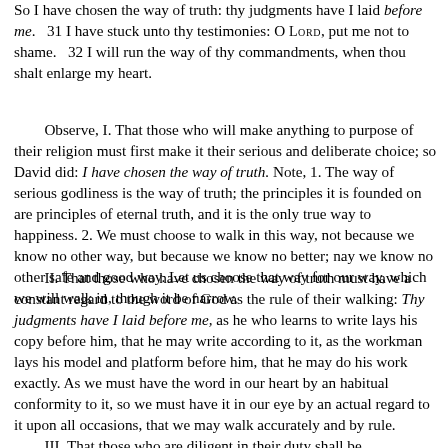So I have chosen the way of truth: thy judgments have I laid before me.   31 I have stuck unto thy testimonies: O Lord, put me not to shame.   32 I will run the way of thy commandments, when thou shalt enlarge my heart.
Observe, I. That those who will make anything to purpose of their religion must first make it their serious and deliberate choice; so David did: I have chosen the way of truth. Note, 1. The way of serious godliness is the way of truth; the principles it is founded on are principles of eternal truth, and it is the only true way to happiness. 2. We must choose to walk in this way, not because we know no other way, but because we know no better; nay we know no other safe and good way. Let us choose that way for our way, which we will walk in, though it be narrow.
II. That those who have chosen the way of truth must have a constant regard to the word of God as the rule of their walking: Thy judgments have I laid before me, as he who learns to write lays his copy before him, that he may write according to it, as the workman lays his model and platform before him, that he may do his work exactly. As we must have the word in our heart by an habitual conformity to it, so we must have it in our eye by an actual regard to it upon all occasions, that we may walk accurately and by rule.
III. That those who are diligent in their duty shall be